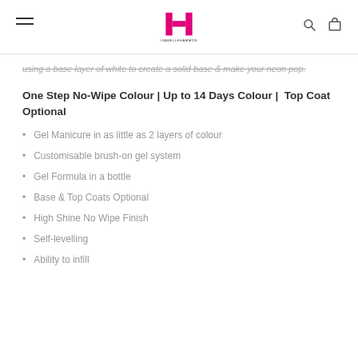ISABELLEHAMMON logo with navigation icons
using a base layer of white to create a solid base & make your neon pop.
One Step No-Wipe Colour | Up to 14 Days Colour | Top Coat Optional
Gel Manicure in as little as 2 layers of colour
Customisable brush-on gel system
Gel Formula in a bottle
Base & Top Coats Optional
High Shine No Wipe Finish
Self-levelling
Ability to infill